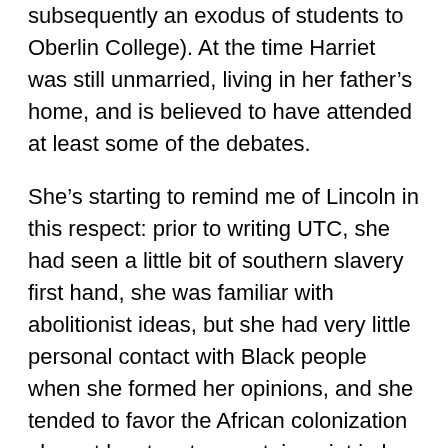subsequently an exodus of students to Oberlin College). At the time Harriet was still unmarried, living in her father's home, and is believed to have attended at least some of the debates.
She's starting to remind me of Lincoln in this respect: prior to writing UTC, she had seen a little bit of southern slavery first hand, she was familiar with abolitionist ideas, but she had very little personal contact with Black people when she formed her opinions, and she tended to favor the African colonization plan, at least up to a certain point in her life.
“And Lesson XXII is even on race!”
I found the first edition free online here:
http://...